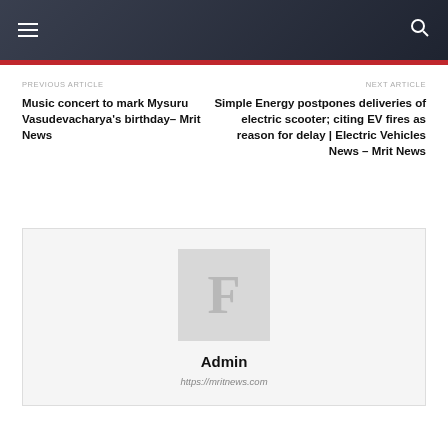Mrit News navigation header
PREVIOUS ARTICLE
Music concert to mark Mysuru Vasudevacharya's birthday– Mrit News
NEXT ARTICLE
Simple Energy postpones deliveries of electric scooter; citing EV fires as reason for delay | Electric Vehicles News – Mrit News
[Figure (illustration): Author avatar placeholder with letter F]
Admin
https://mritnews.com